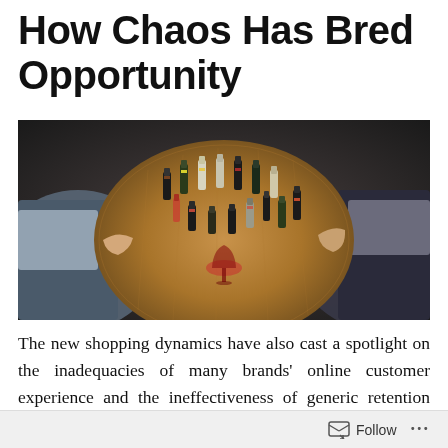How Chaos Has Bred Opportunity
[Figure (photo): Aerial view of people around a round wooden table covered with many wine bottles, with hands reaching toward the bottles and a wine glass in the center.]
The new shopping dynamics have also cast a spotlight on the inadequacies of many brands' online customer experience and the ineffectiveness of generic retention programs. In many cases, brand-customer relationships proved to be based more on habit than true loyalty or
Follow ...